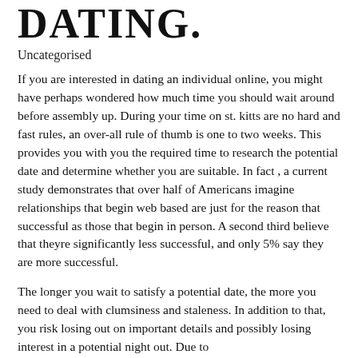DATING.
Uncategorised
If you are interested in dating an individual online, you might have perhaps wondered how much time you should wait around before assembly up. During your time on st. kitts are no hard and fast rules, an over-all rule of thumb is one to two weeks. This provides you with you the required time to research the potential date and determine whether you are suitable. In fact , a current study demonstrates that over half of Americans imagine relationships that begin web based are just for the reason that successful as those that begin in person. A second third believe that theyre significantly less successful, and only 5% say they are more successful.
The longer you wait to satisfy a potential date, the more you need to deal with clumsiness and staleness. In addition to that, you risk losing out on important details and possibly losing interest in a potential night out. Due to